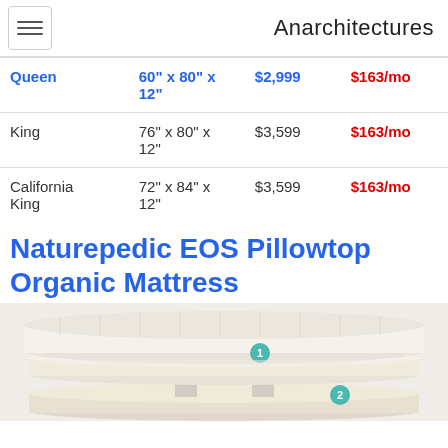Anarchitectures
| Size | Dimensions | Price | Monthly |
| --- | --- | --- | --- |
| Queen | 60" x 80" x 12" | $2,999 | $163/mo |
| King | 76" x 80" x 12" | $3,599 | $163/mo |
| California King | 72" x 84" x 12" | $3,599 | $163/mo |
Naturepedic EOS Pillowtop Organic Mattress
[Figure (illustration): Exploded view illustration of the Naturepedic EOS Pillowtop Organic Mattress showing layered cross-section with numbered callouts 1 and 2 on the layers.]